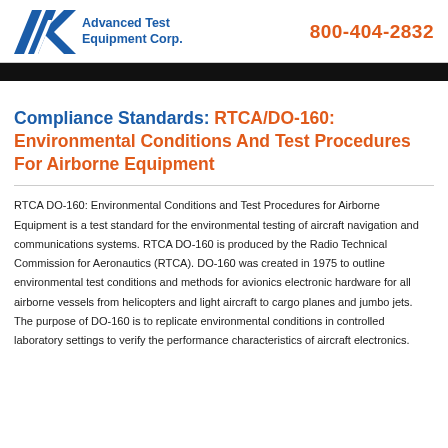Advanced Test Equipment Corp. | 800-404-2832
Compliance Standards: RTCA/DO-160: Environmental Conditions And Test Procedures For Airborne Equipment
RTCA DO-160: Environmental Conditions and Test Procedures for Airborne Equipment is a test standard for the environmental testing of aircraft navigation and communications systems. RTCA DO-160 is produced by the Radio Technical Commission for Aeronautics (RTCA). DO-160 was created in 1975 to outline environmental test conditions and methods for avionics electronic hardware for all airborne vessels from helicopters and light aircraft to cargo planes and jumbo jets. The purpose of DO-160 is to replicate environmental conditions in controlled laboratory settings to verify the performance characteristics of aircraft electronics.